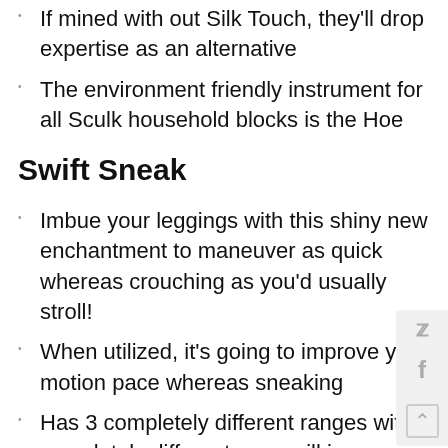If mined with out Silk Touch, they'll drop expertise as an alternative
The environment friendly instrument for all Sculk household blocks is the Hoe
Swift Sneak
Imbue your leggings with this shiny new enchantment to maneuver as quick whereas crouching as you'd usually stroll!
When utilized, it's going to improve your motion pace whereas sneaking
Has 3 completely different ranges with completely different pace will increase
It is the primary enchantment distinctive to leggings gear